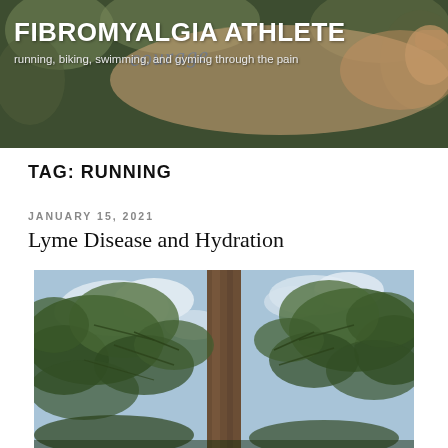FIBROMYALGIA ATHLETE
running, biking, swimming, and gyming through the pain
TAG: RUNNING
JANUARY 15, 2021
Lyme Disease and Hydration
[Figure (photo): Looking up at tall pine trees against a partly cloudy blue sky, with a tree trunk prominently in the center foreground]